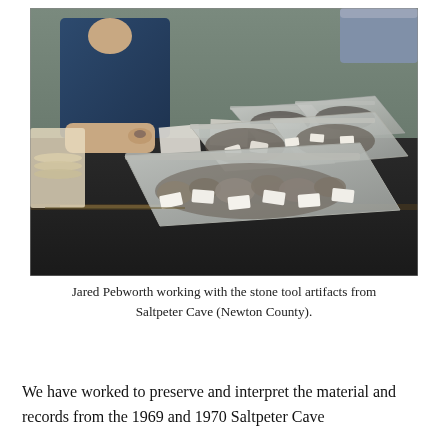[Figure (photo): A person sitting at a dark laboratory table with multiple clear plastic zip-lock bags containing stone tool artifacts laid out in a row on the table. Small white paper tags are visible inside the bags. Cardboard boxes and plates are visible in the background.]
Jared Pebworth working with the stone tool artifacts from Saltpeter Cave (Newton County).
We have worked to preserve and interpret the material and records from the 1969 and 1970 Saltpeter Cave